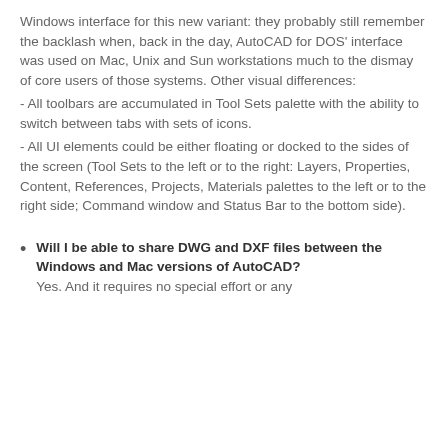Windows interface for this new variant: they probably still remember the backlash when, back in the day, AutoCAD for DOS' interface was used on Mac, Unix and Sun workstations much to the dismay of core users of those systems. Other visual differences:
- All toolbars are accumulated in Tool Sets palette with the ability to switch between tabs with sets of icons.
- All UI elements could be either floating or docked to the sides of the screen (Tool Sets to the left or to the right: Layers, Properties, Content, References, Projects, Materials palettes to the left or to the right side; Command window and Status Bar to the bottom side).
Will I be able to share DWG and DXF files between the Windows and Mac versions of AutoCAD? Yes. And it requires no special effort or any